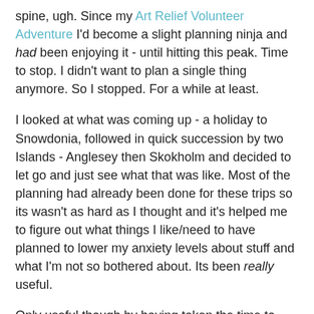spine, ugh. Since my Art Relief Volunteer Adventure I'd become a slight planning ninja and had been enjoying it - until hitting this peak. Time to stop. I didn't want to plan a single thing anymore. So I stopped. For a while at least.
I looked at what was coming up - a holiday to Snowdonia, followed in quick succession by two Islands - Anglesey then Skokholm and decided to let go and just see what that was like. Most of the planning had already been done for these trips so its wasn't as hard as I thought and it's helped me to figure out what things I like/need to have planned to lower my anxiety levels about stuff and what I'm not so bothered about. Its been really useful.
Only useful though by having taken the time to consider and notice what was going on and to ponder on it. How about you? Do you need to stop and reflect/consider something yourself? Just taking half-an-hour out and writing or doodling down your thoughts will help. Trust me.